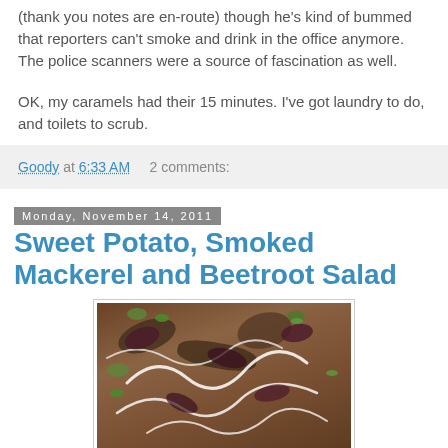(thank you notes are en-route) though he's kind of bummed that reporters can't smoke and drink in the office anymore. The police scanners were a source of fascination as well.
OK, my caramels had their 15 minutes. I've got laundry to do, and toilets to scrub.
Goody at 6:33 AM    2 comments:
Monday, November 14, 2011
Sweet Potato, Smoked Mackerel and Beetroot Salad
[Figure (photo): A plate of Sweet Potato, Smoked Mackerel and Beetroot Salad with white dressing drizzled on top, garnished with green herbs]